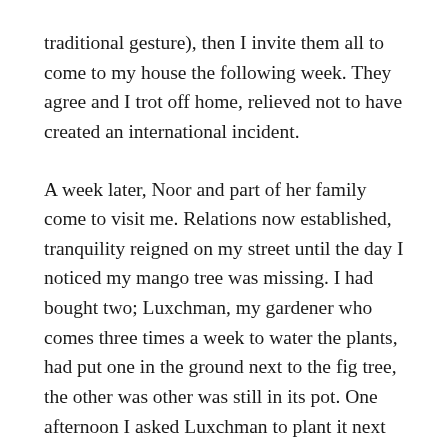traditional gesture), then I invite them all to come to my house the following week. They agree and I trot off home, relieved not to have created an international incident.
A week later, Noor and part of her family come to visit me. Relations now established, tranquility reigned on my street until the day I noticed my mango tree was missing. I had bought two; Luxchman, my gardener who comes three times a week to water the plants, had put one in the ground next to the fig tree, the other was other was still in its pot. One afternoon I asked Luxchman to plant it next to the oleander, but the next day, there was a mango by the oleander and an empty space by the fig tree. What did he do? I asked myself. Luxchman has